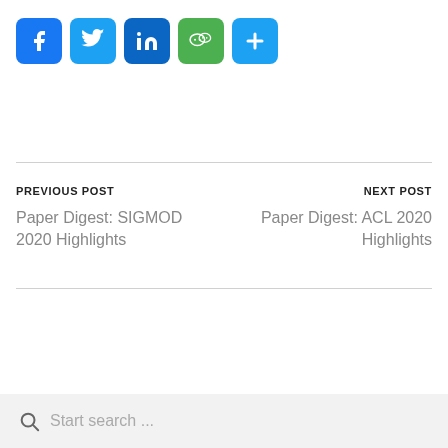[Figure (other): Social sharing buttons: Facebook, Twitter, LinkedIn, WeChat, and a plus/more button]
PREVIOUS POST
Paper Digest: SIGMOD 2020 Highlights
NEXT POST
Paper Digest: ACL 2020 Highlights